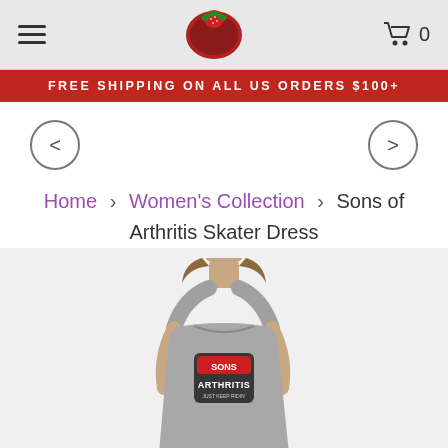Sons of Arthritis store header with hamburger menu, logo, and cart (0)
FREE SHIPPING ON ALL US ORDERS $100+
[Figure (illustration): Left and right navigation arrows (circle buttons with < and > chevrons)]
Home > Women's Collection > Sons of Arthritis Skater Dress
[Figure (photo): Female model wearing a gray sleeveless skater dress with Sons of Arthritis logo on the chest]